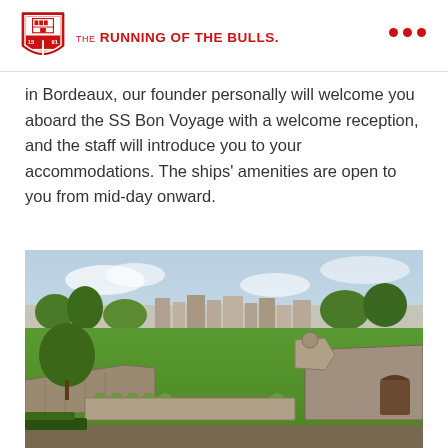THE RUNNING OF THE BULLS
in Bordeaux, our founder personally will welcome you aboard the SS Bon Voyage with a welcome reception, and the staff will introduce you to your accommodations. The ships' amenities are open to you from mid-day onward.
[Figure (photo): Aerial view of a historic fortified city with stone ramparts, arched bridge, green lawns, and city buildings in the background under a partly cloudy sky.]